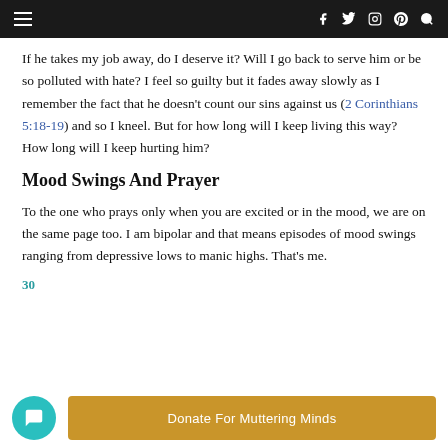≡  f  🐦  ⊙  P  🔍
If he takes my job away, do I deserve it? Will I go back to serve him or be so polluted with hate? I feel so guilty but it fades away slowly as I remember the fact that he doesn't count our sins against us (2 Corinthians 5:18-19) and so I kneel. But for how long will I keep living this way? How long will I keep hurting him?
Mood Swings And Prayer
To the one who prays only when you are excited or in the mood, we are on the same page too. I am bipolar and that means episodes of mood swings ranging from depressive lows to manic highs. That's me.
30
Donate For Muttering Minds